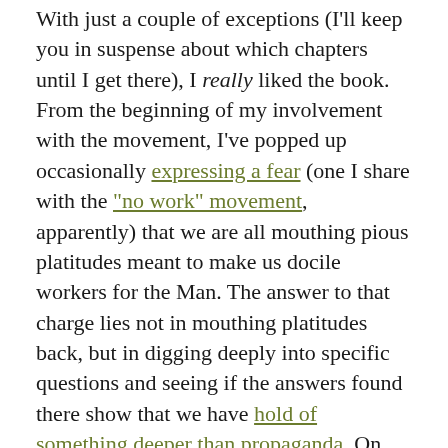With just a couple of exceptions (I'll keep you in suspense about which chapters until I get there), I really liked the book. From the beginning of my involvement with the movement, I've popped up occasionally expressing a fear (one I share with the "no work" movement, apparently) that we are all mouthing pious platitudes meant to make us docile workers for the Man. The answer to that charge lies not in mouthing platitudes back, but in digging deeply into specific questions and seeing if the answers found there show that we have hold of something deeper than propaganda. On that score, this book largely delivers.
Sadly, it has no authors of color and only one female author, who wrote the afterword. There are places where I think engaging this recognized "pale and male" problem of the faith and work movement would have made a stronger book, and we'll talk about those when